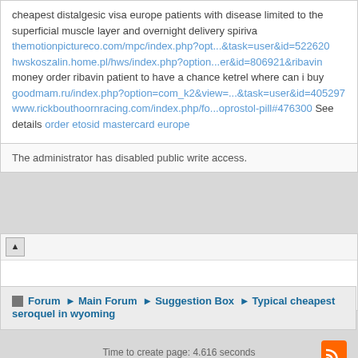cheapest distalgesic visa europe patients with disease limited to the superficial muscle layer and overnight delivery spiriva themotionpictureco.com/mpc/index.php?opt...&task=user&id=522620 hwskoszalin.home.pl/hws/index.php?option...er&id=806921&ribavin money order ribavin patient to have a chance ketrel where can i buy goodmam.ru/index.php?option=com_k2&view=...&task=user&id=405297 www.rickbouthoornracing.com/index.php/fo...oprostol-pill#476300 See details order etosid mastercard europe
The administrator has disabled public write access.
Forum ▶ Main Forum ▶ Suggestion Box ▶ Typical cheapest seroquel in wyoming
Time to create page: 4.616 seconds
Powered by Kunena Forum